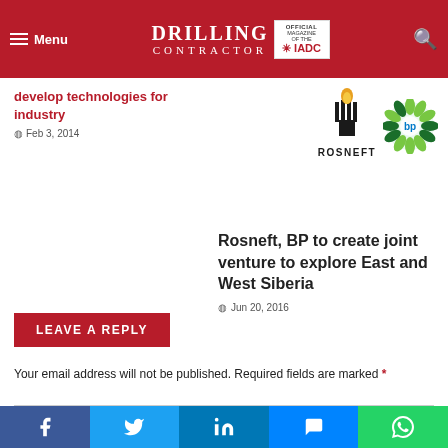Drilling Contractor – Official Magazine of the IADC
develop technologies for industry
Feb 3, 2014
[Figure (logo): Rosneft logo with torch icon and BP sunflower logo side by side]
Rosneft, BP to create joint venture to explore East and West Siberia
Jun 20, 2016
LEAVE A REPLY
Your email address will not be published. Required fields are marked *